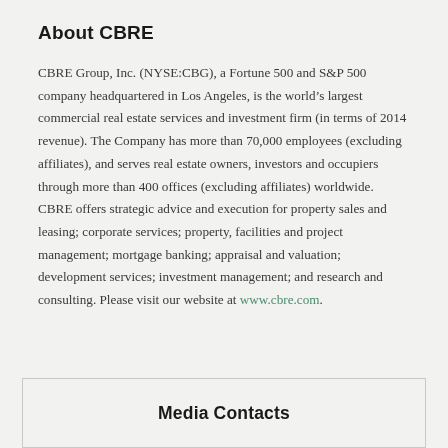About CBRE
CBRE Group, Inc. (NYSE:CBG), a Fortune 500 and S&P 500 company headquartered in Los Angeles, is the world's largest commercial real estate services and investment firm (in terms of 2014 revenue). The Company has more than 70,000 employees (excluding affiliates), and serves real estate owners, investors and occupiers through more than 400 offices (excluding affiliates) worldwide. CBRE offers strategic advice and execution for property sales and leasing; corporate services; property, facilities and project management; mortgage banking; appraisal and valuation; development services; investment management; and research and consulting. Please visit our website at www.cbre.com.
Media Contacts